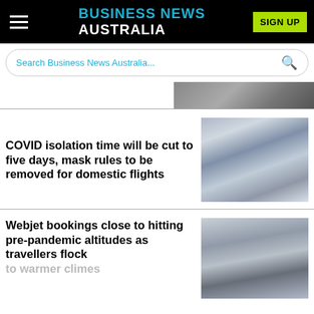BUSINESS NEWS AUSTRALIA
Search Business News Australia...
[Figure (photo): Partial blurred article image at top]
COVID isolation time will be cut to five days, mask rules to be removed for domestic flights
[Figure (photo): Blurred grey-toned photo related to COVID article]
Webjet bookings close to hitting pre-pandemic altitudes as travellers flock
[Figure (photo): Blurred grey-toned photo related to Webjet article]
to warmer climes